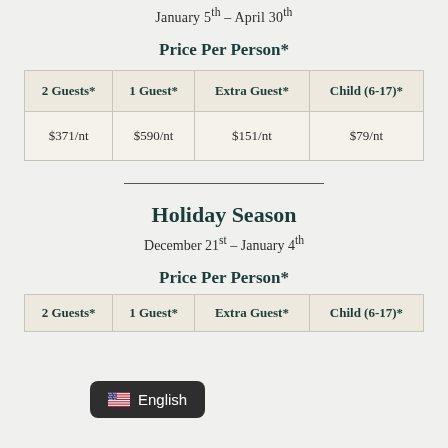January 5th – April 30th
Price Per Person*
| 2 Guests* | 1 Guest* | Extra Guest* | Child (6-17)* |
| --- | --- | --- | --- |
| $371/nt | $590/nt | $151/nt | $79/nt |
Holiday Season
December 21st – January 4th
Price Per Person*